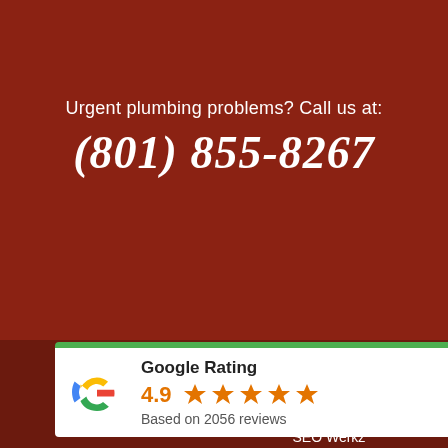Urgent plumbing problems? Call us at:
(801) 855-8267
ng & Air, LLC Copyright
licy
SEO Werkz
[Figure (other): Google Rating widget showing 4.9 stars based on 2056 reviews with Google G logo]